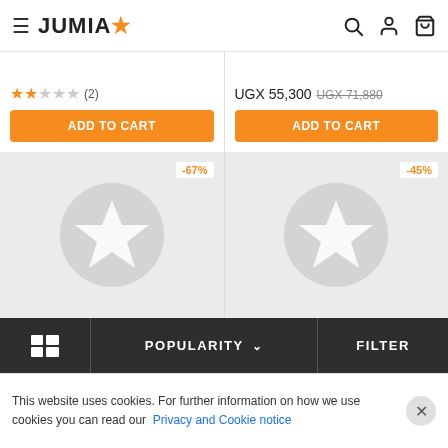JUMIA
★★☆☆☆ (2)
UGX 55,300  UGX 71,880
ADD TO CART
ADD TO CART
[Figure (other): Product card placeholder with -67% discount badge and circular star logo placeholder image]
[Figure (other): Product card placeholder with -45% discount badge and circular star logo placeholder image]
POPULARITY  ∨    FILTER
This website uses cookies. For further information on how we use cookies you can read our  Privacy and Cookie notice